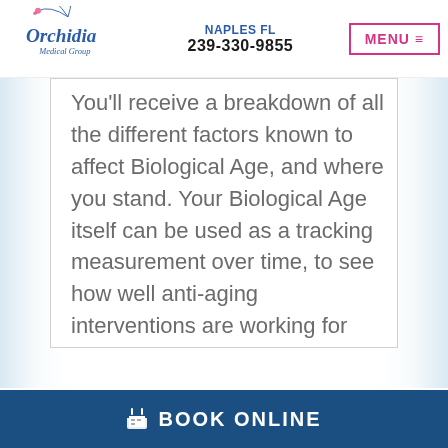[Figure (logo): Orchidia Medical Group logo with floral design]
NAPLES FL
239-330-9855
MENU ≡
You'll receive a breakdown of all the different factors known to affect Biological Age, and where you stand. Your Biological Age itself can be used as a tracking measurement over time, to see how well anti-aging interventions are working for you.
+ Pace of Aging
BOOK ONLINE